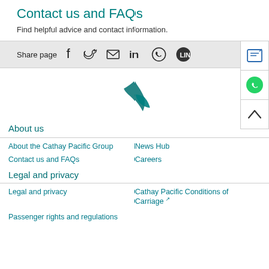Contact us and FAQs
Find helpful advice and contact information.
Share page
[Figure (logo): Cathay Pacific stylized wing/brush stroke logo in teal]
About us
About the Cathay Pacific Group
News Hub
Contact us and FAQs
Careers
Legal and privacy
Legal and privacy
Cathay Pacific Conditions of Carriage
Passenger rights and regulations